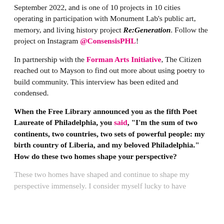September 2022, and is one of 10 projects in 10 cities operating in participation with Monument Lab's public art, memory, and living history project Re:Generation. Follow the project on Instagram @ConsensisPHL!
In partnership with the Forman Arts Initiative, The Citizen reached out to Mayson to find out more about using poetry to build community. This interview has been edited and condensed.
When the Free Library announced you as the fifth Poet Laureate of Philadelphia, you said, "I'm the sum of two continents, two countries, two sets of powerful people: my birth country of Liberia, and my beloved Philadelphia." How do these two homes shape your perspective?
These two homes have shaped and continue to shape my perspective immensely. I consider myself lucky to have